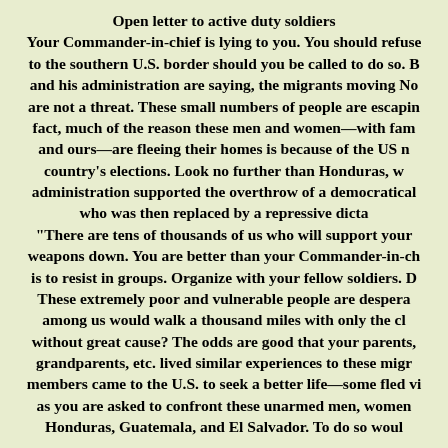Open letter to active duty soldiers
Your Commander-in-chief is lying to you. You should refuse to the southern U.S. border should you be called to do so. and his administration are saying, the migrants moving No are not a threat. These small numbers of people are escapin fact, much of the reason these men and women—with fam and ours—are fleeing their homes is because of the US n country's elections. Look no further than Honduras, w administration supported the overthrow of a democratical who was then replaced by a repressive dicta
"There are tens of thousands of us who will support your weapons down. You are better than your Commander-in-ch is to resist in groups. Organize with your fellow soldiers. D These extremely poor and vulnerable people are despera among us would walk a thousand miles with only the cl without great cause? The odds are good that your parents, grandparents, etc. lived similar experiences to these migr members came to the U.S. to seek a better life—some fled vi as you are asked to confront these unarmed men, women Honduras, Guatemala, and El Salvador. To do so woul